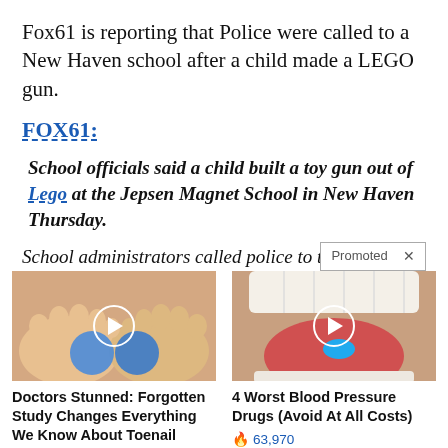Fox61 is reporting that Police were called to a New Haven school after a child made a LEGO gun.
FOX61:
School officials said a child built a toy gun out of Lego at the Jepsen Magnet School in New Haven Thursday.
School administrators called police to [Promoted] ter
[Figure (photo): Thumbnail of feet with blue yarn balls, play button overlay]
Doctors Stunned: Forgotten Study Changes Everything We Know About Toenail Fungus
🔥 2,392
[Figure (photo): Thumbnail of open mouth with tongue and blue pill, play button overlay]
4 Worst Blood Pressure Drugs (Avoid At All Costs)
🔥 63,970